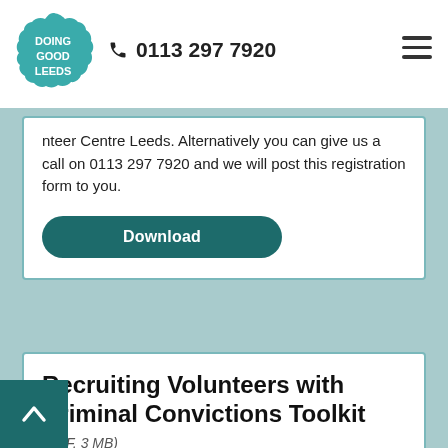DOING GOOD LEEDS | 0113 297 7920
nteer Centre Leeds. Alternatively you can give us a call on 0113 297 7920 and we will post this registration form to you.
Download
Recruiting Volunteers with Criminal Convictions Toolkit
(PDF, 3 MB)
his toolkit is designed as a first step for